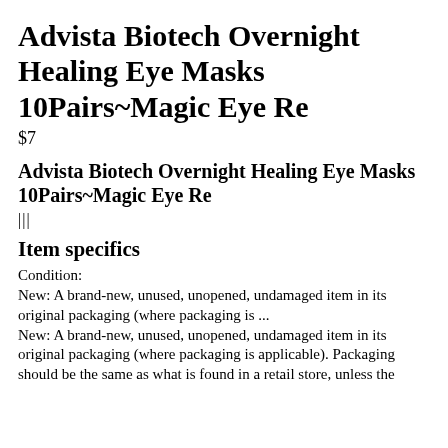Advista Biotech Overnight Healing Eye Masks 10Pairs~Magic Eye Re
$7
Advista Biotech Overnight Healing Eye Masks 10Pairs~Magic Eye Re
|||
Item specifics
Condition:
New: A brand-new, unused, unopened, undamaged item in its original packaging (where packaging is ...
New: A brand-new, unused, unopened, undamaged item in its original packaging (where packaging is applicable). Packaging should be the same as what is found in a retail store, unless the